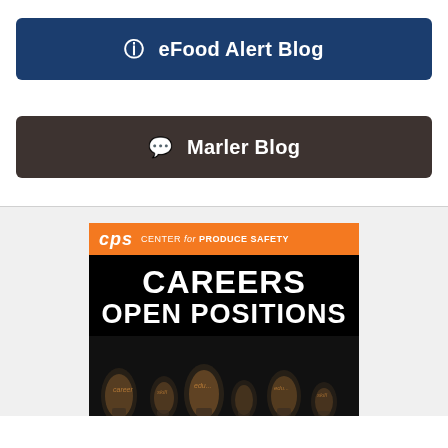[Figure (other): Dark navy blue button/banner with info icon and text 'eFood Alert Blog']
[Figure (other): Dark brown button/banner with chat bubble icon and text 'Marler Blog']
[Figure (other): CPS Center for Produce Safety advertisement showing 'CAREERS OPEN POSITIONS' with lightbulb imagery on black background with orange header]